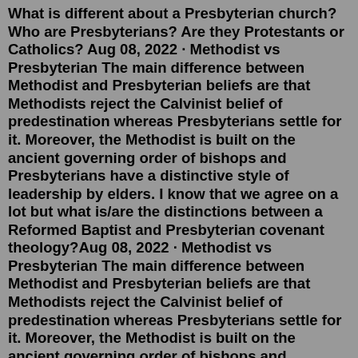What is different about a Presbyterian church? Who are Presbyterians? Are they Protestants or Catholics? Aug 08, 2022 · Methodist vs Presbyterian The main difference between Methodist and Presbyterian beliefs are that Methodists reject the Calvinist belief of predestination whereas Presbyterians settle for it. Moreover, the Methodist is built on the ancient governing order of bishops and Presbyterians have a distinctive style of leadership by elders. I know that we agree on a lot but what is/are the distinctions between a Reformed Baptist and Presbyterian covenant theology?Aug 08, 2022 · Methodist vs Presbyterian The main difference between Methodist and Presbyterian beliefs are that Methodists reject the Calvinist belief of predestination whereas Presbyterians settle for it. Moreover, the Methodist is built on the ancient governing order of bishops and Presbyterians have a distinctive style of leadership by elders. Major Differences Between Christian and Catholic Main Differences Between Methodist and Presbyterian. Methodists practice a tradition based...